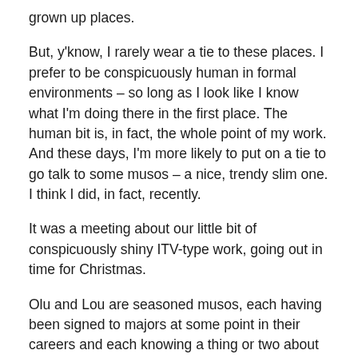grown up places.
But, y'know, I rarely wear a tie to these places. I prefer to be conspicuously human in formal environments – so long as I look like I know what I'm doing there in the first place. The human bit is, in fact, the whole point of my work. And these days, I'm more likely to put on a tie to go talk to some musos – a nice, trendy slim one. I think I did, in fact, recently.
It was a meeting about our little bit of conspicuously shiny ITV-type work, going out in time for Christmas.
Olu and Lou are seasoned musos, each having been signed to majors at some point in their careers and each knowing a thing or two about being very cool very naturally. I'm not sure whether they noticed and appreciated my nice trendy thin tie or not, when we met the first time to discuss Thinking Juice's little advert for